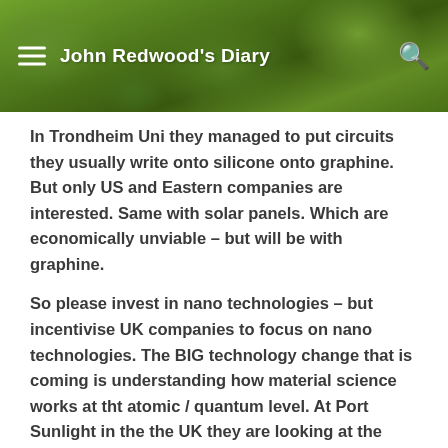John Redwood's Diary
In Trondheim Uni they managed to put circuits they usually write onto silicone onto graphine. But only US and Eastern companies are interested. Same with solar panels. Which are economically unviable – but will be with graphine.
So please invest in nano technologies – but incentivise UK companies to focus on nano technologies. The BIG technology change that is coming is understanding how material science works at tht atomic / quantum level. At Port Sunlight in the the UK they are looking at the quantum effects of cells in order to make face creams that will pass through the skin. For example.
The future is nano technology and quantum material science. There will be green spin offs but we need to focus on getting